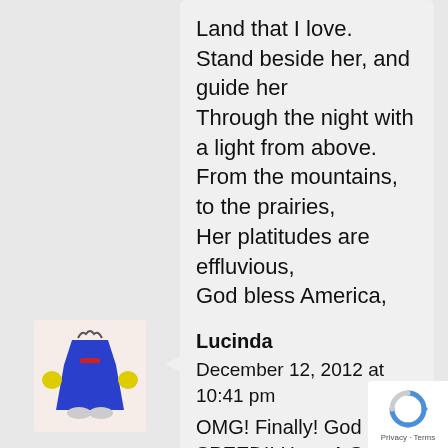Land that I love.
Stand beside her, and guide her
Through the night with a light from above.
From the mountains, to the prairies,
Her platitudes are effluvious,
God bless America, My home sweet home
God bless America, My home sweet home.
[Figure (illustration): Avatar image of a cartoon blue robot/alien figure with yellow hands raised, red mouth, on a light pink background]
Lucinda
December 12, 2012 at 10:41 pm
OMG! Finally! God SPEED!! Have A Safe TRIP! Let us Know How